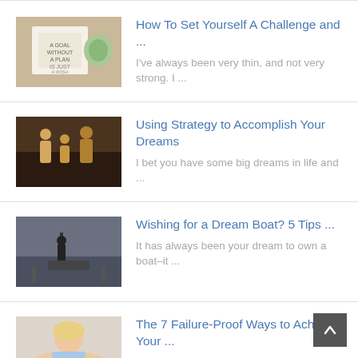I've always been very thin, and not very strong. I ...
I bet you have some big dreams in life and ...
It has always been your dream to own a boat–it ...
"Count your blessings to find what you look for," sings ...